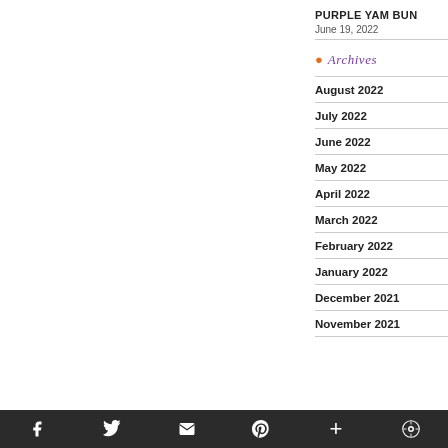PURPLE YAM BUN
June 19, 2022
Archives
August 2022
July 2022
June 2022
May 2022
April 2022
March 2022
February 2022
January 2022
December 2021
November 2021
f  Twitter  Email  Pinterest  +  WordPress